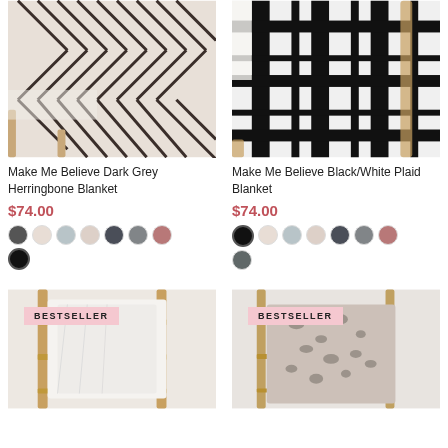[Figure (photo): Dark grey herringbone patterned blanket draped over a wooden chair]
Make Me Believe Dark Grey Herringbone Blanket
$74.00
[Figure (photo): Black and white plaid blanket draped over a wooden chair]
Make Me Believe Black/White Plaid Blanket
$74.00
[Figure (photo): White blanket on a gold ladder shelf with BESTSELLER badge]
[Figure (photo): Grey leopard print blanket on a ladder with BESTSELLER badge]